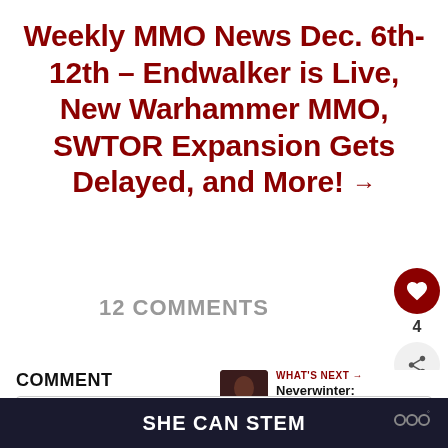Weekly MMO News Dec. 6th-12th – Endwalker is Live, New Warhammer MMO, SWTOR Expansion Gets Delayed, and More! →
12 COMMENTS
COMMENT
Write your comment...
WHAT'S NEXT → Neverwinter: Combat...
SHE CAN STEM